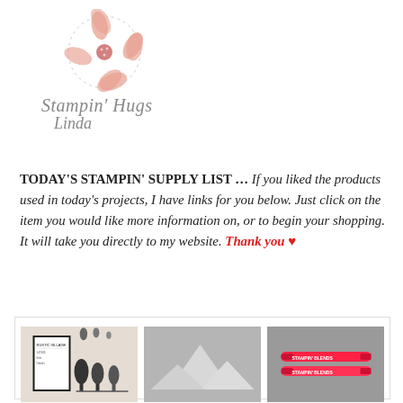[Figure (logo): Stampin' Hugs Linda logo with pink flower/daisy illustration and dotted circle, italic gray text]
TODAY'S STAMPIN' SUPPLY LIST … If you liked the products used in today's projects, I have links for you below. Just click on the item you would like more information on, or to begin your shopping. It will take you directly to my website. Thank you ♥
[Figure (photo): Three product images: a stamp set with tree designs on beige background, a gray embossing folder with mountain/triangle shapes, and two red/pink Stampin' Blend markers on gray background]